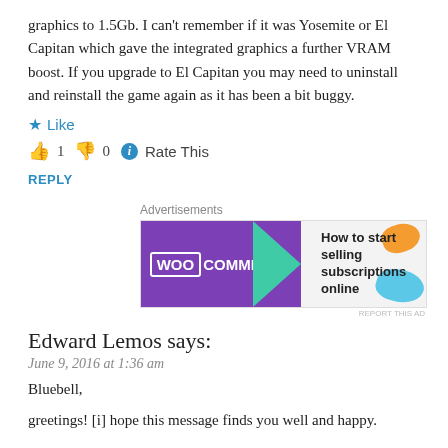graphics to 1.5Gb. I can't remember if it was Yosemite or El Capitan which gave the integrated graphics a further VRAM boost. If you upgrade to El Capitan you may need to uninstall and reinstall the game again as it has been a bit buggy.
★ Like
👍 1 👎 0 ℹ Rate This
REPLY
[Figure (other): WooCommerce advertisement banner: purple background with WooCommerce logo, teal arrow, text 'How to start selling subscriptions online', orange and blue decorative blobs]
Edward Lemos says:
June 9, 2016 at 1:36 am
Bluebell,
greetings! [i] hope this message finds you well and happy.